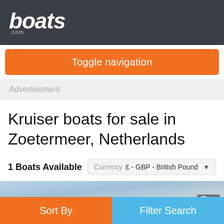boats.com
Toggle navigation
Advertisement
Kruiser boats for sale in Zoetermeer, Netherlands
1 Boats Available   Currency  £ - GBP - British Pound
[Figure (screenshot): Partial boat listing image strip with photo count badge showing '10']
Sort By
Filter Search